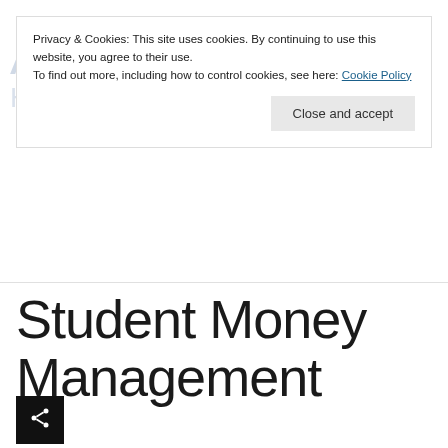Privacy & Cookies: This site uses cookies. By continuing to use this website, you agree to their use. To find out more, including how to control cookies, see here: Cookie Policy
Close and accept
Student Money Management
[Figure (other): Share button icon (black square with share/network icon)]